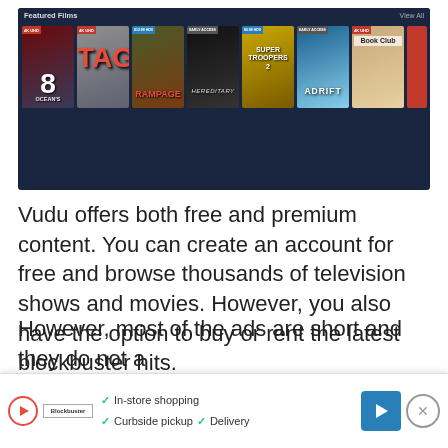[Figure (screenshot): Screenshot of the Vudu streaming service interface showing 'Featured Films' row with movie posters including Ocean's 8, TAG, Rampage, Hereditary, Super Troopers 2, Adrift, Book Club, and others. Movies show badges like '4K UHD', '$12.99 HDX', 'Early Access', '$5.99 HDX'.]
Vudu offers both free and premium content. You can create an account for free and browse thousands of television shows and movies. However, you also have the option to buy or rent the latest blockbuster hits.
The free content includes a wide assortment of classic movies, modern Hollywood films, and classic sitcoms. When watching the free content, you do need to deal with advertisements.
However, most of the ads are short and they do not a...
[Figure (screenshot): Advertisement banner at bottom of page showing a play button, Blockbuster logo, and text: In-store shopping (checkmark), Curbside pickup (checkmark), Delivery (checkmark), with a blue navigation arrow button and an X close button.]